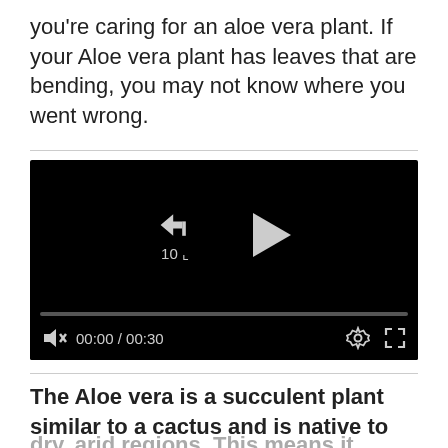you're caring for an aloe vera plant. If your Aloe vera plant has leaves that are bending, you may not know where you went wrong.
[Figure (screenshot): A video player with black background showing replay button (arrow with '10'), a play button triangle, a progress bar at bottom, and controls showing muted speaker icon, time 00:00 / 00:30, settings gear icon, and fullscreen expand icon.]
The Aloe vera is a succulent plant similar to a cactus and is native to very dry, arid regions. This means it needs proper care and maintenance to